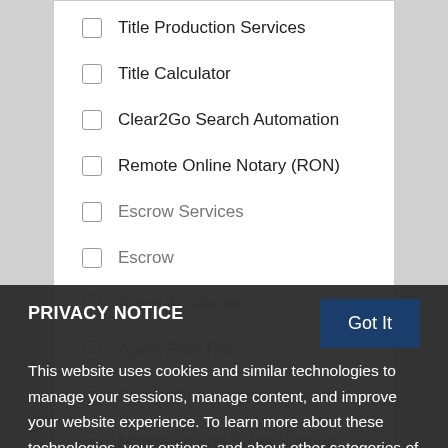Title Production Services
Title Calculator
Clear2Go Search Automation
Remote Online Notary (RON)
Escrow Services
Escrow
Agent Accelerator
Agent Print Pro
Back Office Support Services
Marketing and Sales Support
Other
PRIVACY NOTICE
This website uses cookies and similar technologies to manage your sessions, manage content, and improve your website experience. To learn more about these technologies, your options, and about other categories of personal information we collect through this website and how we may use it, please see our privacy policy. This notice is effective for your use of this website for the next 14 days.